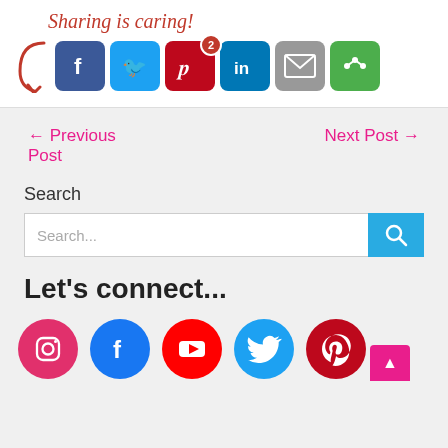[Figure (screenshot): Sharing is caring! banner with social media share buttons: Facebook, Twitter, Pinterest (badge 2), LinkedIn, Email, More]
← Previous Post
Next Post →
Search
[Figure (screenshot): Search input box with placeholder 'Search...' and blue search button]
Let's connect...
[Figure (screenshot): Social media circles: Instagram, Facebook, YouTube, Twitter, Pinterest with back-to-top button]